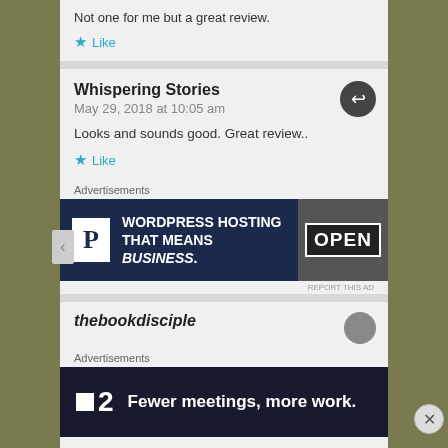Not one for me but a great review.
Like
Whispering Stories
May 29, 2018 at 10:05 am
Looks and sounds good. Great review..
Like
Advertisements
[Figure (screenshot): WordPress hosting advertisement banner: dark navy background with white 'P' logo, text 'WORDPRESS HOSTING THAT MEANS BUSINESS.' and an OPEN sign photo on the right]
REPORT THIS AD
Advertisements
[Figure (screenshot): P2 advertisement banner: dark navy background with white square icon and number 2, text 'Fewer meetings, more work.']